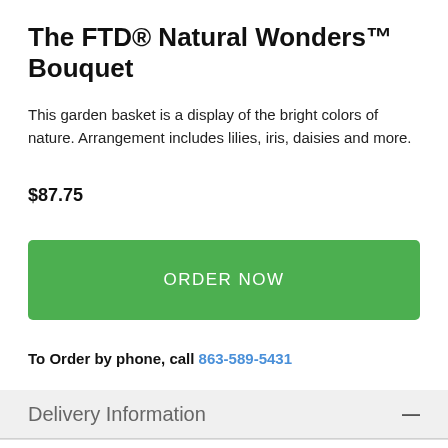The FTD® Natural Wonders™ Bouquet
This garden basket is a display of the bright colors of nature. Arrangement includes lilies, iris, daisies and more.
$87.75
ORDER NOW
To Order by phone, call 863-589-5431
Delivery Information
Delivery Information